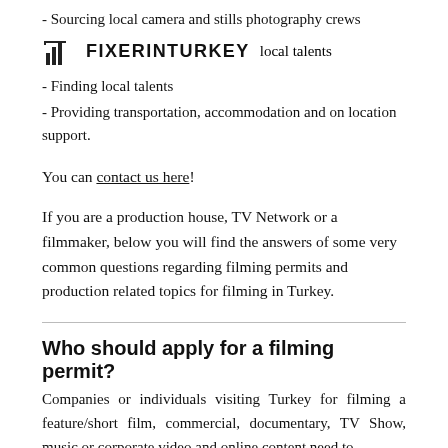- Sourcing local camera and stills photography crews
FIXER IN TURKEY
- Finding local talents
- Providing transportation, accommodation and on location support.
You can contact us here!
If you are a production house, TV Network or a filmmaker, below you will find the answers of some very common questions regarding filming permits and production related topics for filming in Turkey.
Who should apply for a filming permit?
Companies or individuals visiting Turkey for filming a feature/short film, commercial, documentary, TV Show, music or corporate video and online content need to